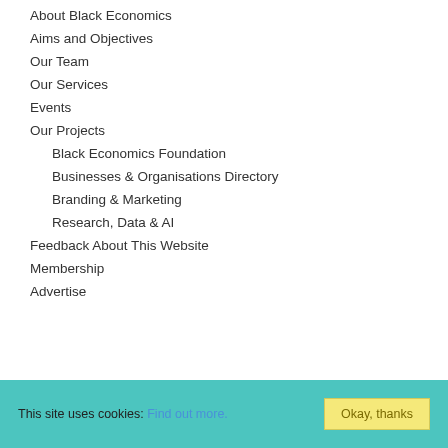About Black Economics
Aims and Objectives
Our Team
Our Services
Events
Our Projects
Black Economics Foundation
Businesses & Organisations Directory
Branding & Marketing
Research, Data & AI
Feedback About This Website
Membership
Advertise
This site uses cookies: Find out more. Okay, thanks